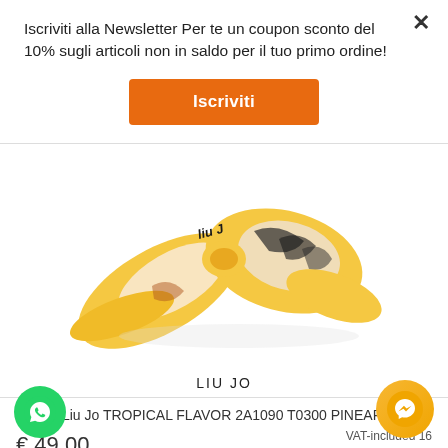Iscriviti alla Newsletter Per te un coupon sconto del 10% sugli articoli non in saldo per il tuo primo ordine!
Iscriviti
[Figure (photo): Yellow and patterned silk scarf (Liu Jo brand) knotted, on white background]
LIU JO
Schals Liu Jo TROPICAL FLAVOR 2A1090 T0300 PINEAPPLE
€ 49,00
VAT-included 16 (for extra UE only)